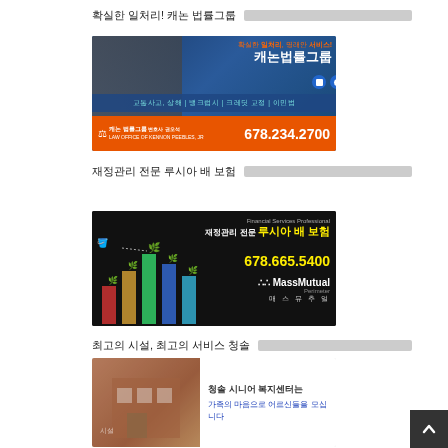확실한 일처리! 캐논 법률그룹
[Figure (photo): 캐논 법률그룹 advertisement banner. Top section shows dark blue background with Korean text '확실한 일처리, 명래안 서비스!' and '캐논법률그룹' with icons. Middle shows '교통사고, 상해 | 뱅크럽시 | 크레딧 교정 | 이민법'. Bottom orange bar shows law firm logo, '캐논 법률그룹 LAW OFFICE OF KENNON PEEBLES, JR' and phone '678.234.2700'.]
재정관리 전문 루시아 배 보험
[Figure (photo): 루시아 배 보험 MassMutual advertisement. Dark background with person watering growing bar chart plants. Text: '재정관리 전문 루시아 배 보험', phone '678.665.5400', MassMutual Perimeter logo, '매스뮤추얼'.]
최고의 시설, 최고의 서비스 청솔
[Figure (photo): 청솔 시니어 복지센터 advertisement showing building exterior and text '청솔 시니어 복지센터는 가족의 마음으로 어르신들을 모십니다'.]